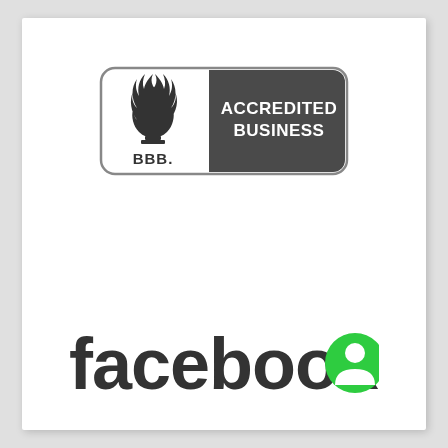[Figure (logo): BBB Accredited Business logo: white left panel with BBB torch flame icon and 'BBB.' text, dark gray right panel with white bold text 'ACCREDITED BUSINESS', rounded rectangle border]
[Figure (logo): Facebook wordmark in dark gray bold sans-serif, followed by a green circle with a white chat bubble/person icon]